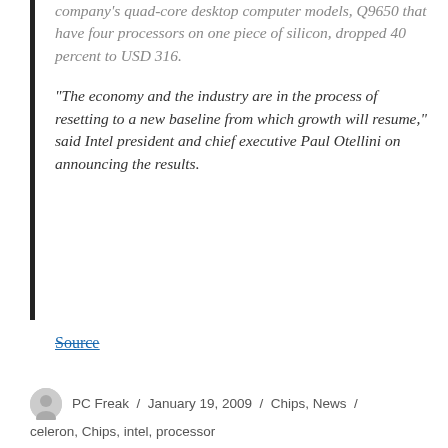company's quad-core desktop computer models, Q9650 that have four processors on one piece of silicon, dropped 40 percent to USD 316.
“The economy and the industry are in the process of resetting to a new baseline from which growth will resume,” said Intel president and chief executive Paul Otellini on announcing the results.
Source
PC Freak / January 19, 2009 / Chips, News / celeron, Chips, intel, processor